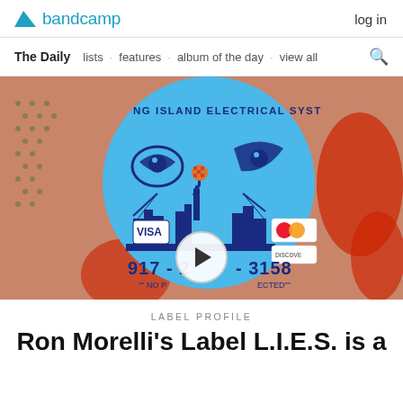bandcamp  log in
The Daily  lists · features · album of the day · view all
[Figure (photo): Bandcamp article hero image showing a stylized blue circle with Long Island Electrical Systems logo, featuring menacing eyes, NYC skyline, Statue of Liberty, credit card logos (VISA, MasterCard, Discover), phone number 917-2__-3158, and 'no pa__ected' text. Background has orange/red pop-art halftone pattern. A play button overlays the bottom center.]
LABEL PROFILE
Ron Morelli's Label L.I.E.S. is a